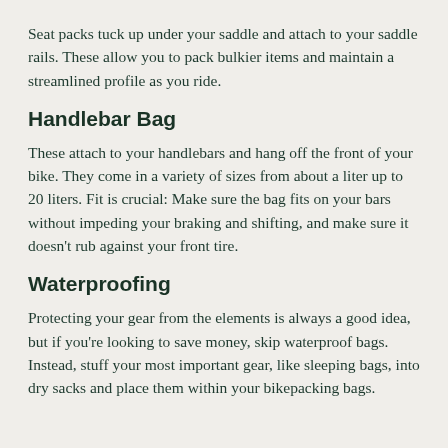Seat packs tuck up under your saddle and attach to your saddle rails. These allow you to pack bulkier items and maintain a streamlined profile as you ride.
Handlebar Bag
These attach to your handlebars and hang off the front of your bike. They come in a variety of sizes from about a liter up to 20 liters. Fit is crucial: Make sure the bag fits on your bars without impeding your braking and shifting, and make sure it doesn't rub against your front tire.
Waterproofing
Protecting your gear from the elements is always a good idea, but if you're looking to save money, skip waterproof bags. Instead, stuff your most important gear, like sleeping bags, into dry sacks and place them within your bikepacking bags.